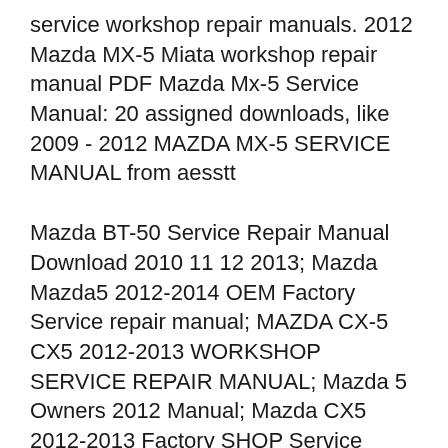service workshop repair manuals. 2012 Mazda MX-5 Miata workshop repair manual PDF Mazda Mx-5 Service Manual: 20 assigned downloads, like 2009 - 2012 MAZDA MX-5 SERVICE MANUAL from aesstt
Mazda BT-50 Service Repair Manual Download 2010 11 12 2013; Mazda Mazda5 2012-2014 OEM Factory Service repair manual; MAZDA CX-5 CX5 2012-2013 WORKSHOP SERVICE REPAIR MANUAL; Mazda 5 Owners 2012 Manual; Mazda CX5 2012-2013 Factory SHOP Service Repair Manual; 2012 Mazda MX-5 Miata Service & Repair Manual Software; 2012 Mazda 5 Service & Repair 2012 Mazda MX-5 Miat...